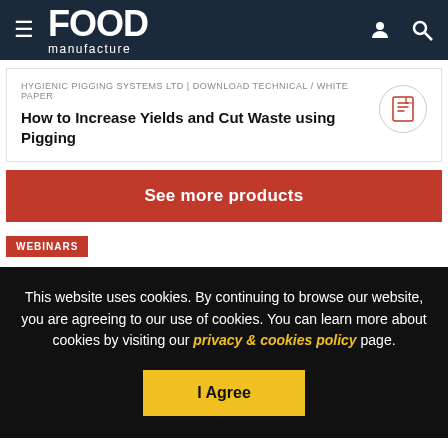FOOD manufacture
HYGIENIC PIGGING SYSTEMS LTD | DOWNLOAD TECHNICAL / WHITE PAPER
How to Increase Yields and Cut Waste using Pigging
See more products
WEBINARS
This website uses cookies. By continuing to browse our website, you are agreeing to our use of cookies. You can learn more about cookies by visiting our privacy & cookies policy page.
I Agree